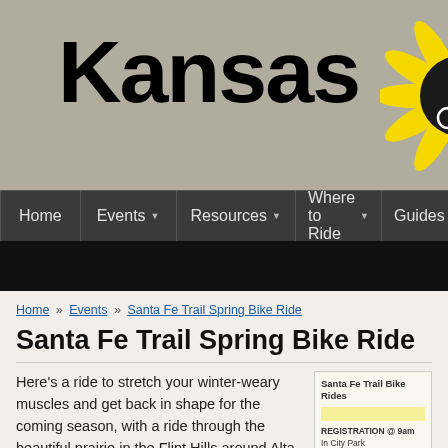Kansas Cyc [cycling website header with sunflower logo]
[Figure (logo): Kansas Cycling website header logo with sunflower containing a cyclist silhouette on a black circle]
Home | Events | Resources | Where to Ride | Guides
Home » Events » Santa Fe Trail Spring Bike Ride
Santa Fe Trail Spring Bike Ride
Here's a ride to stretch your winter-weary muscles and get back in shape for the coming season, with a ride through the beautiful prairie in the Flint Hills around Alta Vista, Kansas.
[Figure (other): Sidebar card showing Santa Fe Trail Bike Rides with yellow highlight block and text: REGISTRATION @ 9am In City Park. Alta Vista is located 15 miles south of I-70 on Hwy 177, and on Hwy 4]